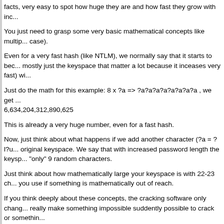facts, very easy to spot how huge they are and how fast they grow with inc...
You just need to grasp some very basic mathematical concepts like multip... case).
Even for a very fast hash (like NTLM), we normally say that it starts to bec... mostly just the keyspace that matter a lot because it inceases very fast) wi...
Just do the math for this example: 8 x ?a => ?a?a?a?a?a?a?a?a , we get ... 6,634,204,312,890,625
This is already a very huge number, even for a fast hash.
Now, just think about what happens if we add another character (?a = ?l?u... original keyspace. We say that with increased password length the keysp... "only" 9 random characters.
Just think about how mathematically large your keyspace is with 22-23 ch... you use if something is mathematically out of reach.
If you think deeply about these concepts, the cracking software only chang... really make something impossible suddently possible to crack or somethin...
If the mathematical calculation tells you that your calculated keyspace valu... universe, you should notice that something isn't quite right and that it's not... look promising.
Cracking a 22-23 character random password (even with this very small, n... and too huge things, mathematically. It doesn't really matter which softwar... also relatively tight across cracking tools. The C value (and therefore the s...